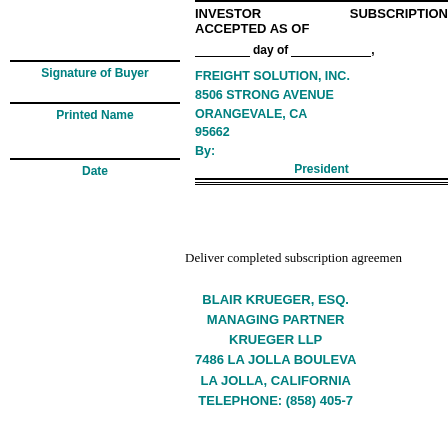INVESTOR SUBSCRIPTION ACCEPTED AS OF ___ day of ___, FREIGHT SOLUTION, INC. 8506 STRONG AVENUE ORANGEVALE, CA 95662 By: President
Signature of Buyer
Printed Name
Date
Deliver completed subscription agreement
BLAIR KRUEGER, ESQ. MANAGING PARTNER KRUEGER LLP 7486 LA JOLLA BOULEVARD LA JOLLA, CALIFORNIA TELEPHONE: (858) 405-7